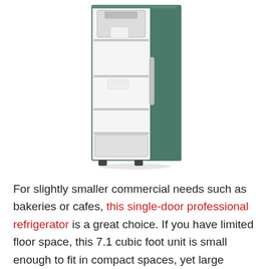[Figure (photo): A single-door professional stainless steel refrigerator shown with door open, revealing interior shelves and compartments.]
For slightly smaller commercial needs such as bakeries or cafes, this single-door professional refrigerator is a great choice. If you have limited floor space, this 7.1 cubic foot unit is small enough to fit in compact spaces, yet large enough inside for plenty of practical